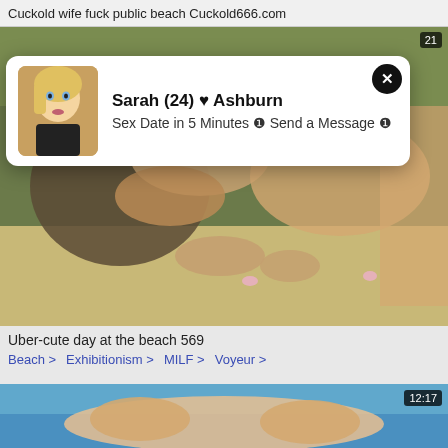Cuckold wife fuck public beach Cuckold666.com
[Figure (screenshot): Video thumbnail showing beach scene with blurred explicit content]
[Figure (screenshot): Ad popup overlay: profile photo of blonde woman, text: Sarah (24) ♥ Ashburn / Sex Date in 5 Minutes ❶ Send a Message ❶]
Uber-cute day at the beach 569
Beach > Exhibitionism > MILF > Voyeur >
[Figure (screenshot): Second video thumbnail showing beach/pool scene, timer 12:17]